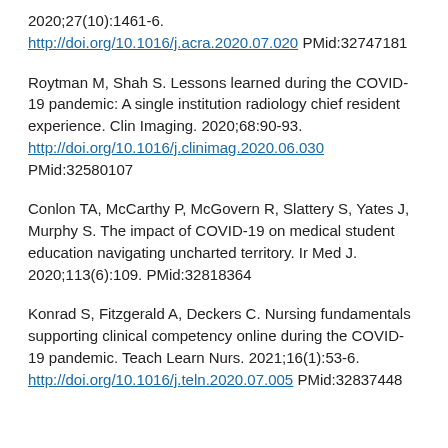2020;27(10):1461-6. http://doi.org/10.1016/j.acra.2020.07.020 PMid:32747181
Roytman M, Shah S. Lessons learned during the COVID-19 pandemic: A single institution radiology chief resident experience. Clin Imaging. 2020;68:90-93. http://doi.org/10.1016/j.clinimag.2020.06.030 PMid:32580107
Conlon TA, McCarthy P, McGovern R, Slattery S, Yates J, Murphy S. The impact of COVID-19 on medical student education navigating uncharted territory. Ir Med J. 2020;113(6):109. PMid:32818364
Konrad S, Fitzgerald A, Deckers C. Nursing fundamentals supporting clinical competency online during the COVID- 19 pandemic. Teach Learn Nurs. 2021;16(1):53-6. http://doi.org/10.1016/j.teln.2020.07.005 PMid:32837448